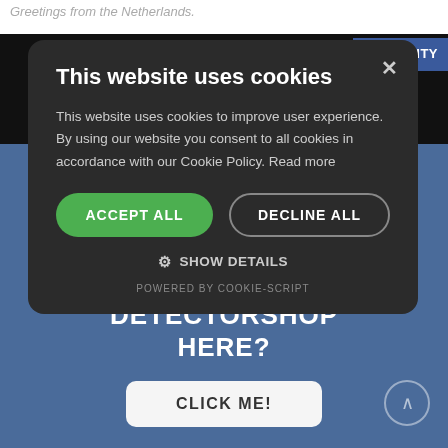Greetings from the Netherlands.
[Figure (screenshot): Cookie consent modal dialog on a website with dark background. Contains title 'This website uses cookies', body text, Accept All (green) and Decline All (outlined) buttons, Show Details option, and powered by Cookie-Script footer.]
YOUR DETECTORSHOP HERE?
CLICK ME!